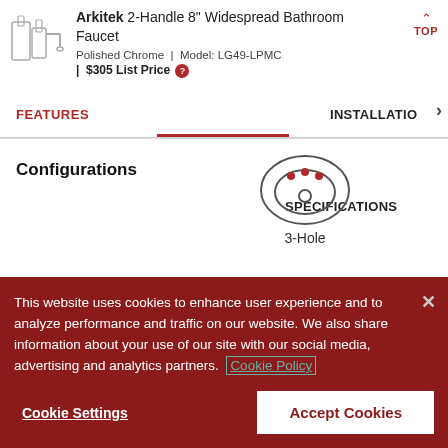[Figure (photo): Small product image of Arkitek 2-Handle faucet in grey/chrome]
Arkitek 2-Handle 8" Widespread Bathroom Faucet
Polished Chrome | Model: LG49-LPMC | $305 List Price
FEATURES
SPECIFICATIONS
INSTALLATIO
Configurations
[Figure (illustration): 3-Hole sink configuration icon: oval shape with three dots on top and one circle in center]
3-Hole
This website uses cookies to enhance user experience and to analyze performance and traffic on our website. We also share information about your use of our site with our social media, advertising and analytics partners. Cookie Policy
Cookie Settings
Accept Cookies